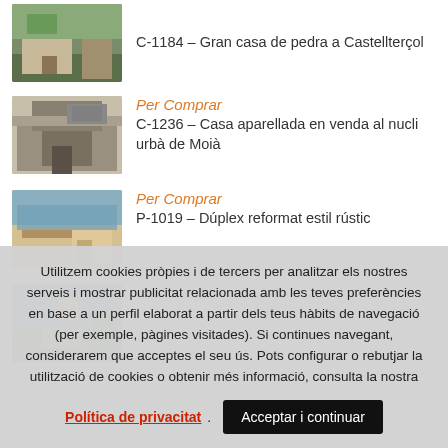[Figure (photo): Thumbnail photo of a stone house exterior at Castellterçol]
C-1184 – Gran casa de pedra a Castellterçol
[Figure (photo): Thumbnail photo of a house facade with balcony]
Per Comprar
C-1236 – Casa aparellada en venda al nucli urbà de Moià
[Figure (photo): Thumbnail photo showing interior/exterior of a property]
Per Comprar
P-1019 – Dúplex reformat estil rústic
[Figure (photo): Thumbnail photo showing a building exterior]
Per Comprar
Utilitzem cookies pròpies i de tercers per analitzar els nostres serveis i mostrar publicitat relacionada amb les teves preferències en base a un perfil elaborat a partir dels teus hàbits de navegació (per exemple, pàgines visitades). Si continues navegant, considerarem que acceptes el seu ús. Pots configurar o rebutjar la utilització de cookies o obtenir més informació, consulta la nostra
Política de privacitat
Acceptar i continuar